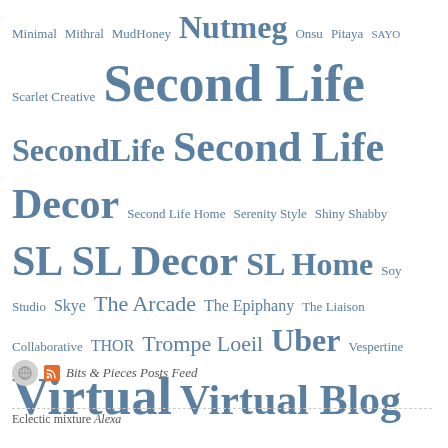Minimal Mithral MudHoney Nutmeg Onsu Pitaya SAYO Scarlet Creative Second Life SecondLife Second Life Decor Second Life Home Serenity Style Shiny Shabby SL SL Decor SL Home Soy Studio Skye The Arcade The Epiphany The Liaison Collaborative THOR Trompe Loeil Uber Vespertine Virtual Virtual Blog Virtual Decor Virtual Living Virtual World What Next Zerkalo [Cinoe] [Merak] [Rezz Room] {moss&mink}
Bits & Pieces Posts Feed
Eclectic mixture Alexa